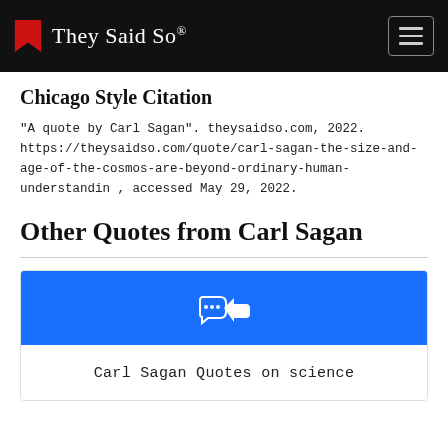They Said So®
Chicago Style Citation
"A quote by Carl Sagan". theysaidso.com, 2022. https://theysaidso.com/quote/carl-sagan-the-size-and-age-of-the-cosmos-are-beyond-ordinary-human-understandin , accessed May 29, 2022.
Other Quotes from Carl Sagan
Carl Sagan Quotes on science